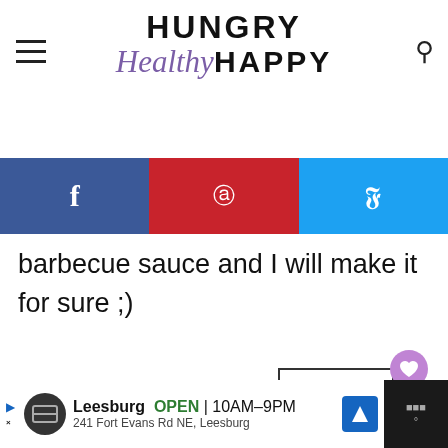Hungry Healthy Happy
[Figure (screenshot): Social media share bar with Facebook, Pinterest, and Twitter buttons]
barbecue sauce and I will make it for sure ;)
REPLY
733
WHAT'S NEXT → Baked Home Fries
Sue
Leesburg OPEN 10AM–9PM 241 Fort Evans Rd NE, Leesburg